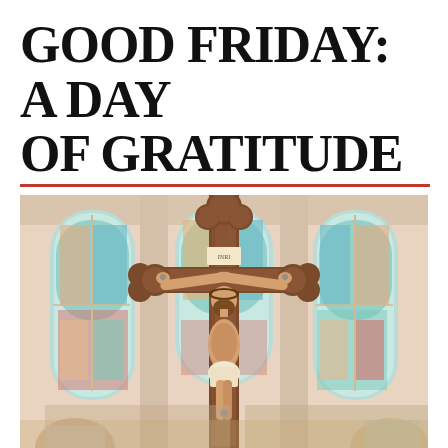GOOD FRIDAY: A DAY OF GRATITUDE
[Figure (photo): Interior of a Catholic church showing a large wooden crucifix with a corpus of Christ in front of three arched stained glass windows depicting biblical scenes. Two figures are partially visible at the bottom corners of the image.]